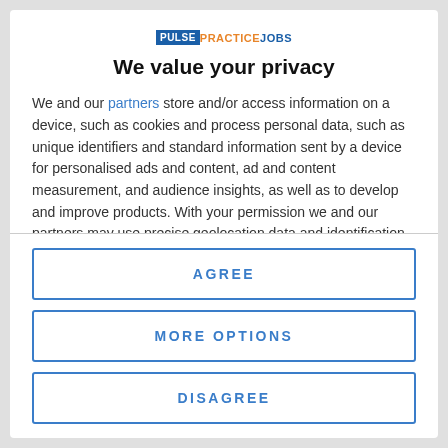[Figure (logo): PulsePracticeJobs logo: PULSE in white on blue background, PRACTICE in orange, JOBS in blue]
We value your privacy
We and our partners store and/or access information on a device, such as cookies and process personal data, such as unique identifiers and standard information sent by a device for personalised ads and content, ad and content measurement, and audience insights, as well as to develop and improve products. With your permission we and our partners may use precise geolocation data and identification through device scanning. You may click to consent to our and our partners'
AGREE
MORE OPTIONS
DISAGREE